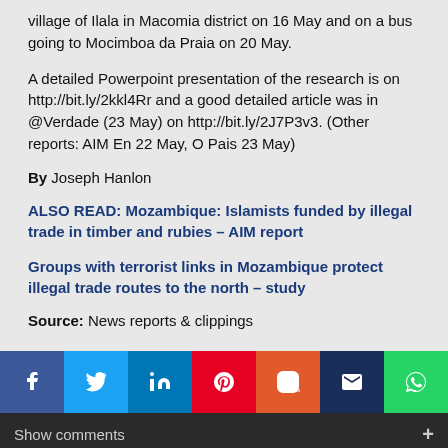village of Ilala in Macomia district on 16 May and on a bus going to Mocimboa da Praia on 20 May.
A detailed Powerpoint presentation of the research is on http://bit.ly/2kkl4Rr and a good detailed article was in @Verdade (23 May) on http://bit.ly/2J7P3v3. (Other reports: AIM En 22 May, O Pais 23 May)
By Joseph Hanlon
ALSO READ: Mozambique: Islamists funded by illegal trade in timber and rubies – AIM report
Groups with terrorist links in Mozambique protect illegal trade routes to the north – study
Source: News reports & clippings
[Figure (infographic): Social media sharing buttons: Facebook, Twitter, LinkedIn, Pinterest, Instagram, Email, WhatsApp]
Show comments +